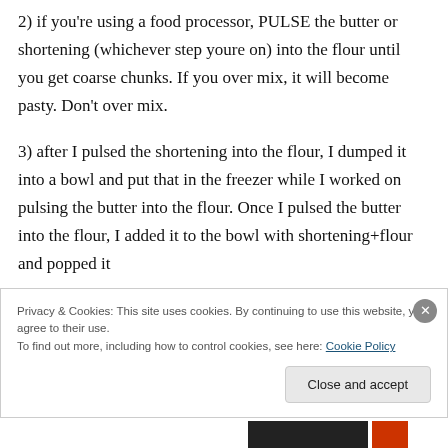2) if you're using a food processor, PULSE the butter or shortening (whichever step youre on) into the flour until you get coarse chunks. If you over mix, it will become pasty. Don't over mix.
3) after I pulsed the shortening into the flour, I dumped it into a bowl and put that in the freezer while I worked on pulsing the butter into the flour. Once I pulsed the butter into the flour, I added it to the bowl with shortening+flour and popped it
Privacy & Cookies: This site uses cookies. By continuing to use this website, you agree to their use.
To find out more, including how to control cookies, see here: Cookie Policy
Close and accept